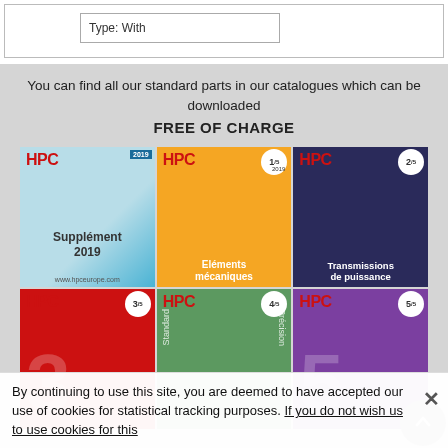[Figure (screenshot): Top portion of a form/filter interface showing a field labeled 'Type: With']
You can find all our standard parts in our catalogues which can be downloaded FREE OF CHARGE
[Figure (illustration): Grid of 6 HPC catalogue covers: Supplément 2019, HPC 1/5 Eléments mécaniques, HPC 2/5 Transmissions de puissance, HPC 3/5, HPC 4/5, HPC 5/5]
By continuing to use this site, you are deemed to have accepted our use of cookies for statistical tracking purposes. If you do not wish us to use cookies for this